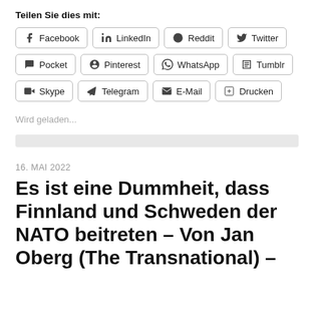Teilen Sie dies mit:
[Figure (infographic): Social share buttons: Facebook, LinkedIn, Reddit, Twitter, Pocket, Pinterest, WhatsApp, Tumblr, Skype, Telegram, E-Mail, Drucken]
Wird geladen...
16. MAI 2022
Es ist eine Dummheit, dass Finnland und Schweden der NATO beitreten – Von Jan Oberg (The Transnational) –